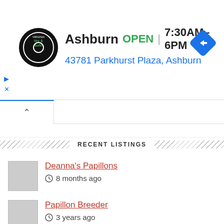[Figure (screenshot): Ad banner for Virginia Tire & Auto showing Ashburn location, OPEN status, hours 7:30AM-6PM, address 43781 Parkhurst Plaza Ashburn, with logo and navigation icon]
Ashburn  OPEN | 7:30AM–6PM
43781 Parkhurst Plaza, Ashburn
RECENT LISTINGS
Deanna's Papillons
8 months ago
Papillon Breeder
3 years ago